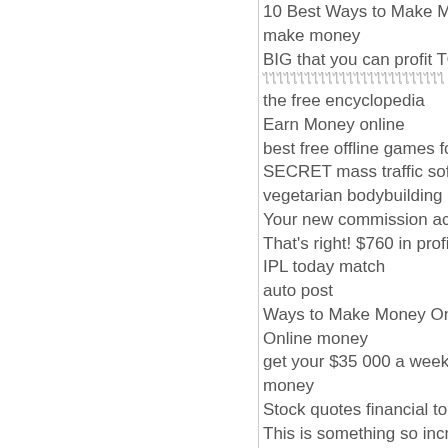10 Best Ways to Make Money fro...
make money
BIG that you can profit TODAY
ไไไไไไไไไไไไไไไไไไไไไไไไไไ
the free encyclopedia
Earn Money online
best free offline games for andro...
SECRET mass traffic software to...
vegetarian bodybuilding
Your new commission account
That's right! $760 in profit in just...
IPL today match
auto post
Ways to Make Money Online Fro...
Online money
get your $35 000 a week salary s...
money
Stock quotes financial tools
This is something so incredibly
The Ultimate Guide to Working F...
binary options trading software
44 Ways To Make More Money F...
cazare east london
Eyes and Lips Permanent Makeu...
how to make money. free money
borse da donna
volusia county balloon entertaine...
Does It Work?
ipl runner-up list
Binären Optionen
points table ipl 2017
make money online